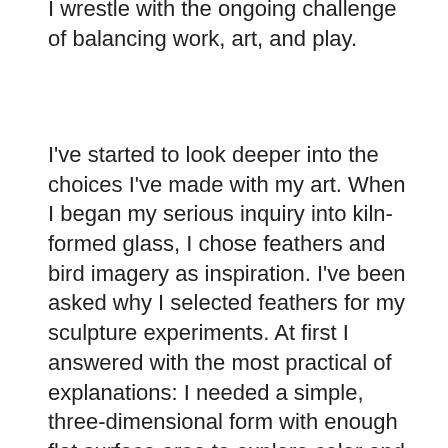I wrestle with the ongoing challenge of balancing work, art, and play.
I've started to look deeper into the choices I've made with my art. When I began my serious inquiry into kiln-formed glass, I chose feathers and bird imagery as inspiration. I've been asked why I selected feathers for my sculpture experiments. At first I answered with the most practical of explanations: I needed a simple, three-dimensional form with enough flat surface area to explore color and pattern. I needed something that I could slump over a stainless steel mesh mold. I needed something handy, and happened to have a great many feathers on hand in my studio